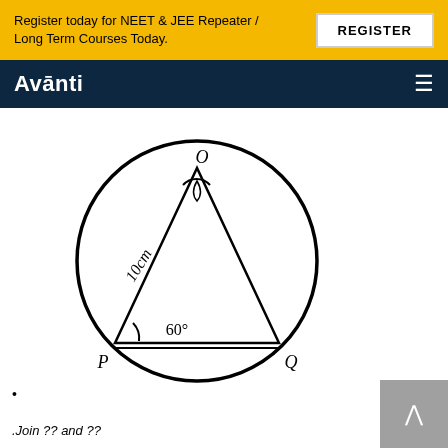Register today for NEET & JEE Repeater / Long Term Courses Today.
REGISTER
Avanti
[Figure (engineering-diagram): Circle with inscribed triangle OPQ. O is the apex at top, P is bottom-left vertex, Q is bottom-right vertex. The side OP is labeled 10 cm, the angle at P is labeled 60°. A small arc is drawn at vertex O inside the triangle.]
.Join ?? and ??